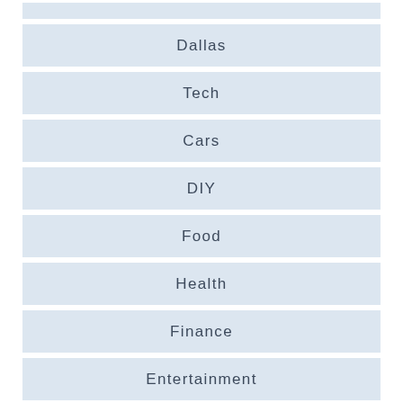Dallas
Tech
Cars
DIY
Food
Health
Finance
Entertainment